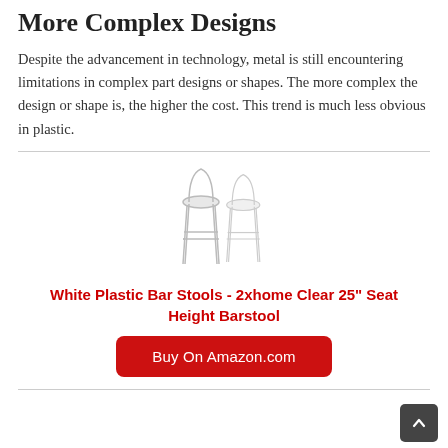More Complex Designs
Despite the advancement in technology, metal is still encountering limitations in complex part designs or shapes. The more complex the design or shape is, the higher the cost. This trend is much less obvious in plastic.
[Figure (photo): Two clear/white plastic bar stools side by side]
White Plastic Bar Stools - 2xhome Clear 25" Seat Height Barstool
Buy On Amazon.com